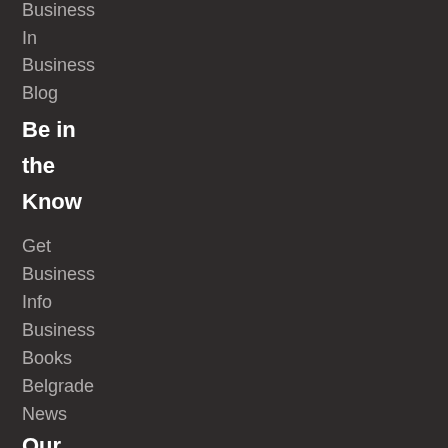Business
In
Business
Blog
Be in the Know
Get
Business
Info
Business
Books
Belgrade
News
Our